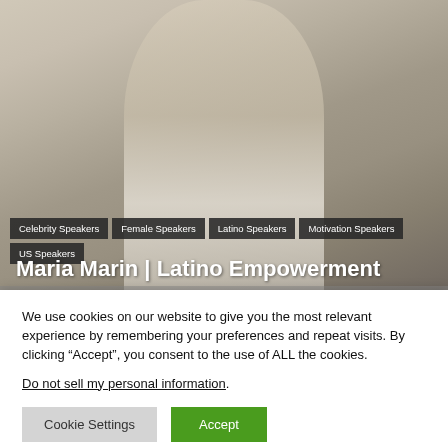[Figure (photo): Background photo of a blonde woman in a white button-up blouse, partially cropped, with a blurred kitchen/interior background.]
Celebrity Speakers
Female Speakers
Latino Speakers
Motivation Speakers
US Speakers
Maria Marin | Latino Empowerment
We use cookies on our website to give you the most relevant experience by remembering your preferences and repeat visits. By clicking “Accept”, you consent to the use of ALL the cookies.
Do not sell my personal information.
Cookie Settings
Accept